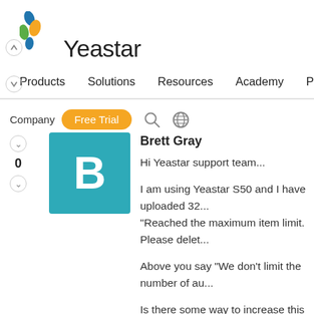[Figure (logo): Yeastar logo with colorful leaf/petal icon and company name]
Products   Solutions   Resources   Academy   Partners
Company   Free Trial
Brett Gray
Hi Yeastar support team...
I am using Yeastar S50 and I have uploaded 32... "Reached the maximum item limit. Please delet...
Above you say "We don't limit the number of au...
Is there some way to increase this number usin... https://support.yeastar.com/hc/en-us/articles/21... number of the custom prompts.